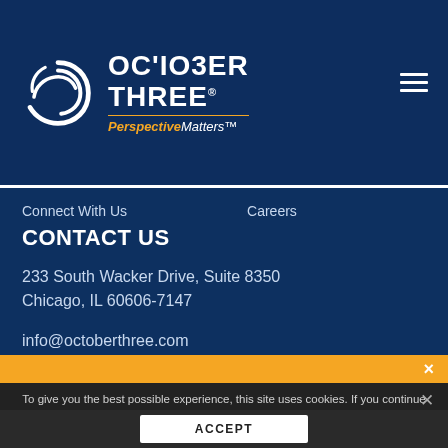[Figure (logo): October Three logo with circular swirl graphic, company name 'OCTOBER THREE' in white bold text, orange divider line, and tagline 'PerspectiveMatters™' with 'Perspective' in orange italic bold and 'Matters' in white italic]
Connect With Us    Careers
CONTACT US
233 South Wacker Drive, Suite 8350
Chicago, IL 60606-7147
info@octoberthree.com
312-878-2440
To give you the best possible experience, this site uses cookies. If you continue browsing, you accept our use of cookies. You can view our privacy policy to find out more about the cookies we use.
ACCEPT